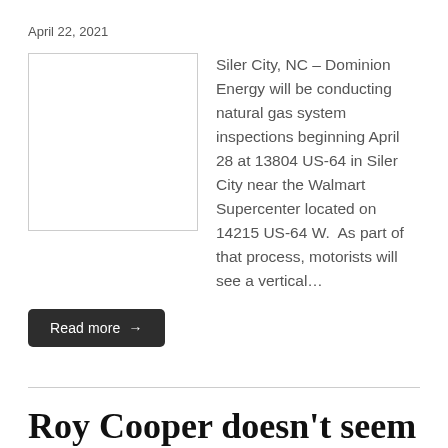April 22, 2021
[Figure (photo): Blank/white placeholder image for article]
Siler City, NC – Dominion Energy will be conducting natural gas system inspections beginning April 28 at 13804 US-64 in Siler City near the Walmart Supercenter located on 14215 US-64 W.  As part of that process, motorists will see a vertical…
Read more →
Roy Cooper doesn't seem to get it, even as he vows to loosen most restrictions June 1